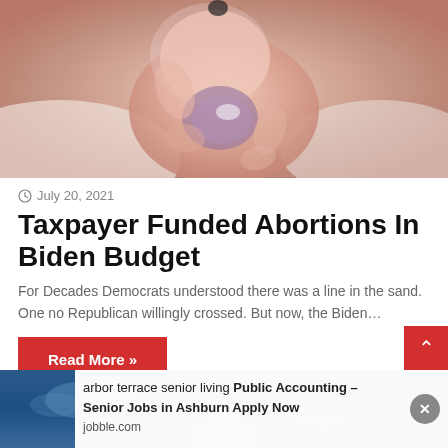[Figure (photo): Close-up photo of a fetus/newborn with pinkish skin tones against a soft white background]
July 20, 2021
Taxpayer Funded Abortions In Biden Budget
For Decades Democrats understood there was a line in the sand. One no Republican willingly crossed. But now, the Biden…
Read More »
[Figure (photo): Blue sky background with clouds, partial view of another article image]
harbor terrace senior living Public Accounting – Senior Jobs in Ashburn Apply Now
jobble.com